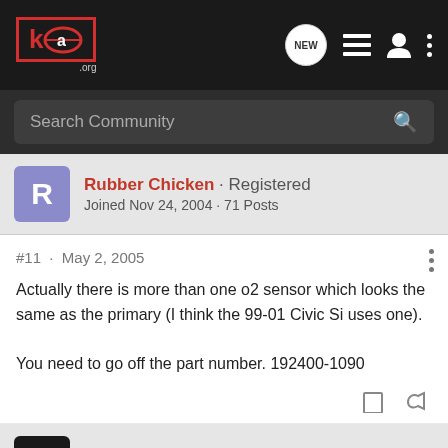[Figure (logo): KPA.org logo in red and white on dark background]
Search Community
Rubber Chicken · Registered
Joined Nov 24, 2004 · 71 Posts
#11 · May 2, 2005
Actually there is more than one o2 sensor which looks the same as the primary (I think the 99-01 Civic Si uses one).

You need to go off the part number. 192400-1090
nikos · Banned
Joined Aug 2, 2003 · 15,815 Posts